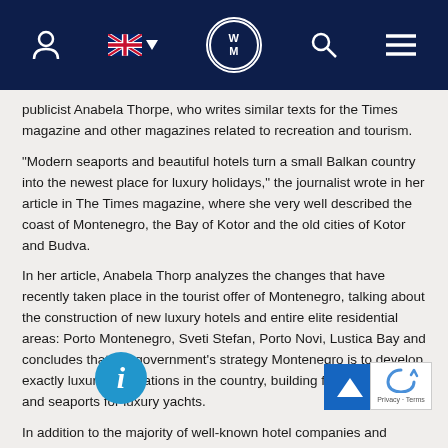WM navigation bar with user icon, UK flag, WM logo, search icon, menu icon
publicist Anabela Thorpe, who writes similar texts for the Times magazine and other magazines related to recreation and tourism.
“Modern seaports and beautiful hotels turn a small Balkan country into the newest place for luxury holidays,” the journalist wrote in her article in The Times magazine, where she very well described the coast of Montenegro, the Bay of Kotor and the old cities of Kotor and Budva.
In her article, Anabela Thorp analyzes the changes that have recently taken place in the tourist offer of Montenegro, talking about the construction of new luxury hotels and entire elite residential areas: Porto Montenegro, Sveti Stefan, Porto Novi, Lustica Bay and concludes that the government's strategy Montenegro is to develop exactly luxury destinations in the country, building five-star hotels and seaports for luxury yachts.
In addition to the majority of well-known hotel companies and corporations Chedi, One & Only and others, in recent years, many investors are looking for opportunities to open exclusive hotels